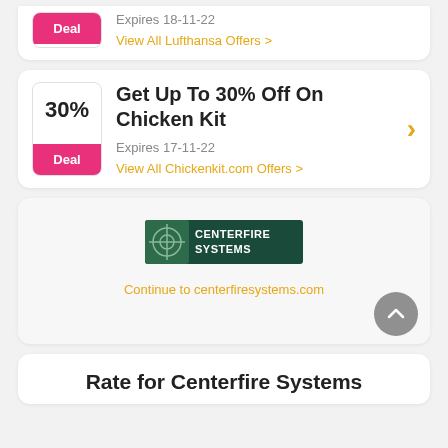Expires 18-11-22
View All Lufthansa Offers >
Get Up To 30% Off On Chicken Kit
Expires 17-11-22
View All Chickenkit.com Offers >
[Figure (logo): Centerfire Systems logo - green rectangle with target crosshair icon and white text CENTERFIRE SYSTEMS]
Continue to centerfiresystems.com
Rate for Centerfire Systems